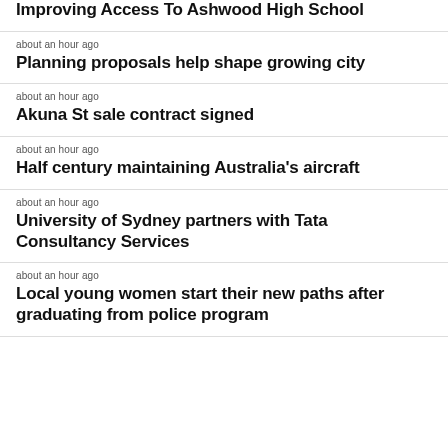Improving Access To Ashwood High School
about an hour ago
Planning proposals help shape growing city
about an hour ago
Akuna St sale contract signed
about an hour ago
Half century maintaining Australia's aircraft
about an hour ago
University of Sydney partners with Tata Consultancy Services
about an hour ago
Local young women start their new paths after graduating from police program